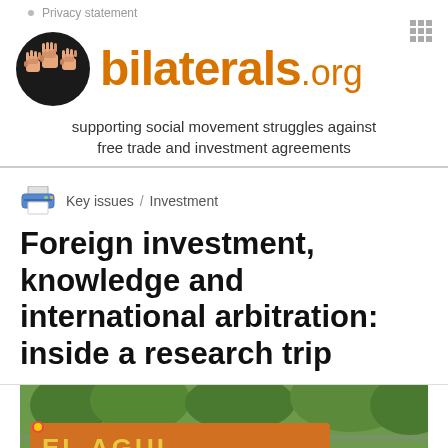Privacy statement
[Figure (logo): bilaterals.org logo: dark circle with raised fist icons, orange bold text 'bilaterals.org']
supporting social movement struggles against free trade and investment agreements
Key issues / Investment
Foreign investment, knowledge and international arbitration: inside a research trip
[Figure (photo): Outdoor protest scene with orange banner reading 'EL AGUI...' amid trees and fence]